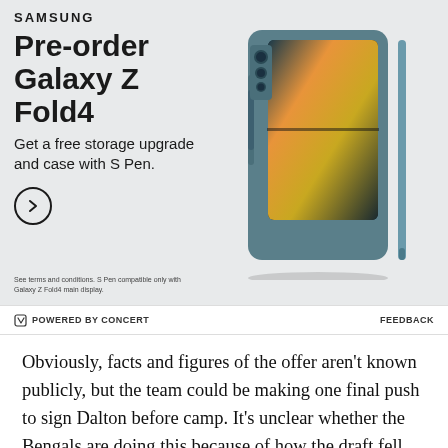[Figure (infographic): Samsung advertisement for Galaxy Z Fold4 pre-order. Features bold headline 'Pre-order Galaxy Z Fold4', subtext 'Get a free storage upgrade and case with S Pen.', a circular arrow CTA button, disclaimer text, and a product image of the phone with S Pen on teal/blue-grey background.]
POWERED BY CONCERT   FEEDBACK
Obviously, facts and figures of the offer aren't known publicly, but the team could be making one final push to sign Dalton before camp. It's unclear whether the Bengals are doing this because of how the draft fell and their not taking a quarterback until the fifth round,